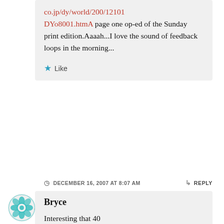co.jp/dy/world/200/12101DYo8001.htmA page one op-ed of the Sunday print edition.Aaaah...I love the sound of feedback loops in the morning...
★ Like
DECEMBER 16, 2007 AT 8:07 AM
↳ REPLY
[Figure (illustration): Teal geometric floral/mandala avatar icon for commenter Bryce]
Bryce
Interesting that 40